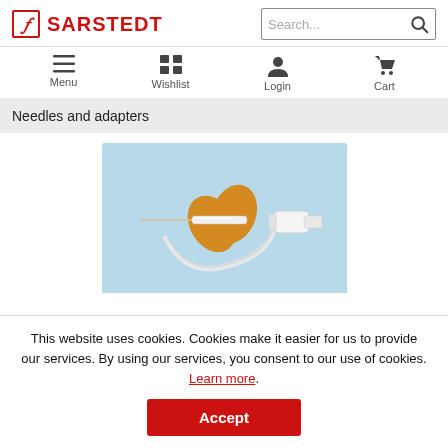[Figure (logo): Sarstedt logo with red F in a box and red SARSTEDT text]
[Figure (screenshot): Search bar with magnifying glass icon]
[Figure (infographic): Navigation bar with Menu (hamburger), Wishlist (grid), Login (person), Cart (shopping cart) icons]
Needles and adapters
[Figure (photo): Medical needle/butterfly infusion set with orange wings and tubing on a light blue background, connected to a white adapter]
This website uses cookies. Cookies make it easier for us to provide our services. By using our services, you consent to our use of cookies. Learn more.
[Figure (other): Accept button (red background, white bold text)]